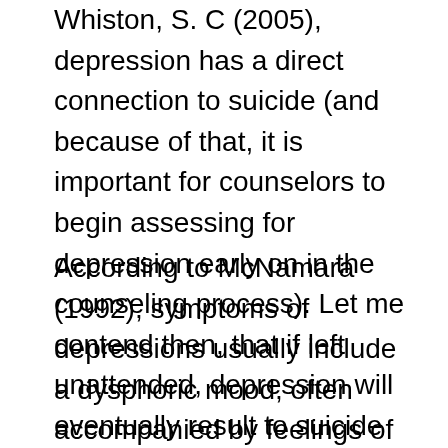Whiston, S. C (2005), depression has a direct connection to suicide (and because of that, it is important for counselors to begin assessing for depression early on in the counseling process). Let me contend then, that if left unattended, depression will eventually result to suicide ideation and to the act of suicide itself.
According to McNamara (1992), symptoms of depressions usually include a dysphoric mood, often accompanied by feelings of anxiety, guilt, and resentment. Beck, A. T (1979) proposed that depression or depressed feelings are caused by depressogenic assumptions. Depressogenic assumptions, according to Beck, A. T. (1979) are common cognitive errors which cause depressed